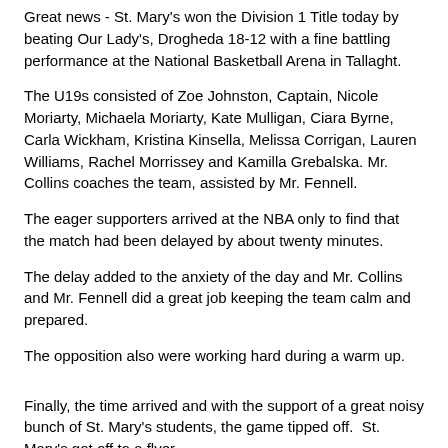Great news - St. Mary's won the Division 1 Title today by beating Our Lady's, Drogheda 18-12 with a fine battling performance at the National Basketball Arena in Tallaght.
The U19s consisted of Zoe Johnston, Captain, Nicole Moriarty, Michaela Moriarty, Kate Mulligan, Ciara Byrne, Carla Wickham, Kristina Kinsella, Melissa Corrigan, Lauren Williams, Rachel Morrissey and Kamilla Grebalska. Mr. Collins coaches the team, assisted by Mr. Fennell.
The eager supporters arrived at the NBA only to find that the match had been delayed by about twenty minutes.
The delay added to the anxiety of the day and Mr. Collins and Mr. Fennell did a great job keeping the team calm and prepared.
The opposition also were working hard during a warm up.
Finally, the time arrived and with the support of a great noisy bunch of St. Mary's students, the game tipped off.  St. Mary's got off to a flyer.